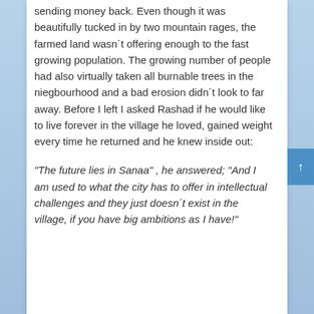sending money back. Even though it was beautifully tucked in by two mountain rages, the farmed land wasn´t offering enough to the fast growing population. The growing number of people had also virtually taken all burnable trees in the niegbourhood and a bad erosion didn´t look to far away. Before I left I asked Rashad if he would like to live forever in the village he loved, gained weight every time he returned and he knew inside out:
“The future lies in Sanaa” , he answered; “And I am used to what the city has to offer in intellectual challenges and they just doesn´t exist in the village, if you have big ambitions as I have!”